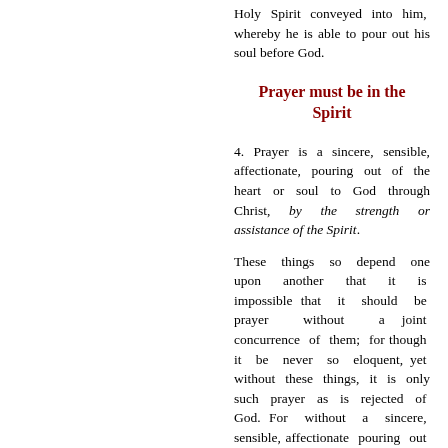Holy Spirit conveyed into him, whereby he is able to pour out his soul before God.
Prayer must be in the Spirit
4. Prayer is a sincere, sensible, affectionate, pouring out of the heart or soul to God through Christ, by the strength or assistance of the Spirit.
These things so depend one upon another that it is impossible that it should be prayer without a joint concurrence of them; for though it be never so eloquent, yet without these things, it is only such prayer as is rejected of God. For without a sincere, sensible, affectionate pouring out of the heart to God, it is but lip-labour; and if it be not through Christ, it falls far short of ever sounding well in the ears of God. So also, if it be not in the strength and by